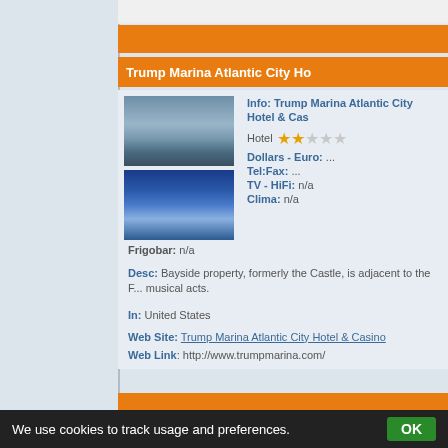Trump Marina Atlantic City Ho
[Figure (photo): Two photos of Trump Marina Atlantic City Hotel & Casino]
Info: Trump Marina Atlantic City Hotel & Cas
Hotel ★★☆☆☆
Dollars - Euro: ...
Tel:Fax: ...
TV - HiFi: n/a
Clima: n/a
Frigobar: n/a
Desc: Bayside property, formerly the Castle, is adjacent to the F... musical acts.
In: United States
Web Site: Trump Marina Atlantic City Hotel & Casino
Web Link: http://www.trumpmarina.com/
We use cookies to track usage and preferences. OK